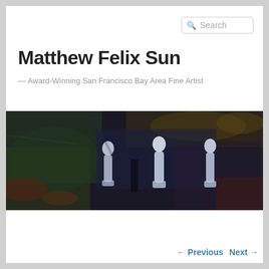Search
Matthew Felix Sun
— Award-Winning San Francisco Bay Area Fine Artist
[Figure (photo): Dark atmospheric oil painting showing three white ghostly figures/statues against a dark background with muted blues, greens, and earth tones. Navigation menu overlaid at bottom with links: Portfolio, CV, Contact & Subscribe, Featured Work Blog, Purchase.]
← Previous   Next →